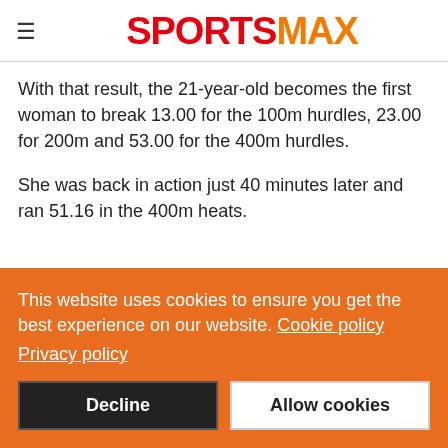SPORTSMAX
With that result, the 21-year-old becomes the first woman to break 13.00 for the 100m hurdles, 23.00 for 200m and 53.00 for the 400m hurdles.
She was back in action just 40 minutes later and ran 51.16 in the 400m heats.
This website uses cookies to ensure you get the best experience on our website. Cookie policy Privacy policy
Decline
Allow cookies